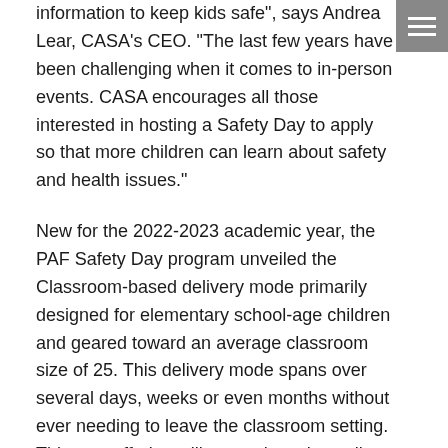information to keep kids safe", says Andrea Lear, CASA's CEO. "The last few years have been challenging when it comes to in-person events. CASA encourages all those interested in hosting a Safety Day to apply so that more children can learn about safety and health issues."
New for the 2022-2023 academic year, the PAF Safety Day program unveiled the Classroom-based delivery mode primarily designed for elementary school-age children and geared toward an average classroom size of 25. This delivery mode spans over several days, weeks or even months without ever needing to leave the classroom setting. This new offering will not replace the well-established Community- or School-based PAF Safety Day program, but rather aims to remove barriers that may have limited previous participation and allows for more children to be reached with safety and health education.